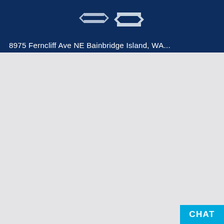[Figure (logo): Diamond-shaped interlocked arrows logo in silver/white on dark navy background]
8975 Ferncliff Ave NE Bainbridge Island, WA...
[Figure (other): Large gray empty content area]
CHAT